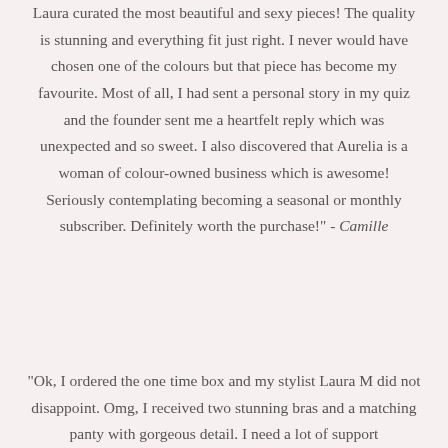Laura curated the most beautiful and sexy pieces! The quality is stunning and everything fit just right. I never would have chosen one of the colours but that piece has become my favourite. Most of all, I had sent a personal story in my quiz and the founder sent me a heartfelt reply which was unexpected and so sweet. I also discovered that Aurelia is a woman of colour-owned business which is awesome! Seriously contemplating becoming a seasonal or monthly subscriber. Definitely worth the purchase!" - Camille
"Ok, I ordered the one time box and my stylist Laura M did not disappoint. Omg, I received two stunning bras and a matching panty with gorgeous detail. I need a lot of support